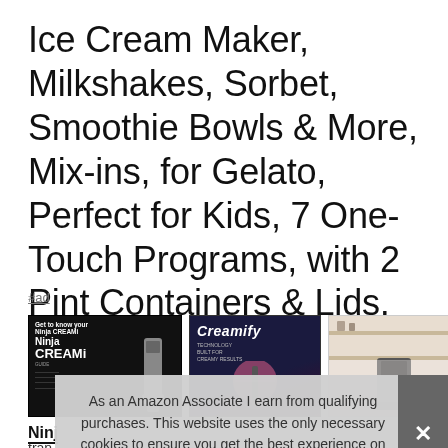Ice Cream Maker, Milkshakes, Sorbet, Smoothie Bowls & More, Mix-ins, for Gelato, Perfect for Kids, 7 One-Touch Programs, with 2 Pint Containers & Lids, Silver
#ad
[Figure (photo): Row of four product thumbnail images for the Ninja CREAMi ice cream maker: first is a black instructional image with Ninja CREAMi branding and machine illustration, second shows 'Creamify' text on dark background with blender/mixing image, third shows the machine in a light kitchen setting, fourth shows the machine on a white counter.]
Ninj
tran
As an Amazon Associate I earn from qualifying purchases. This website uses the only necessary cookies to ensure you get the best experience on our website. More information